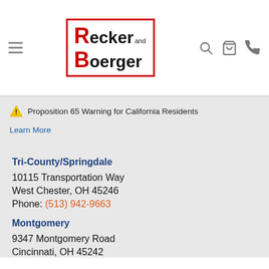[Figure (logo): Recker and Boerger logo with red R and B letters in red border box]
⚠️ Proposition 65 Warning for California Residents
Learn More
Tri-County/Springdale
10115 Transportation Way
West Chester, OH 45246
Phone: (513) 942-9663
Montgomery
9347 Montgomery Road
Cincinnati, OH 45242